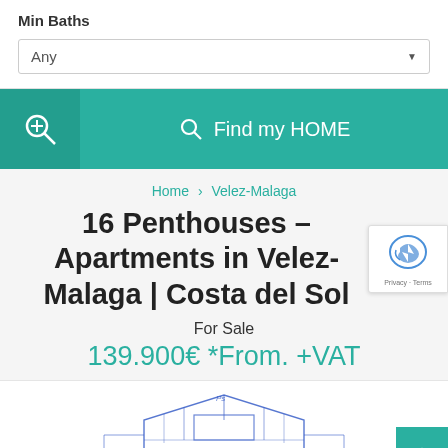Min Baths
Any
Find my HOME
Home > Velez-Malaga
16 Penthouses – Apartments in Velez-Malaga | Costa del Sol
For Sale
139.900€ *From. +VAT
[Figure (illustration): Architectural sketch of a building rooftop/penthouse in blue line drawing style]
[Figure (other): reCAPTCHA badge with logo and Privacy/Terms links]